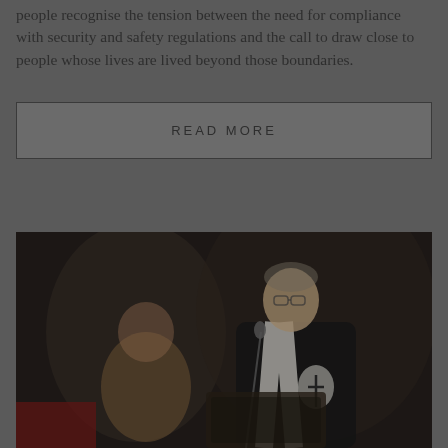people recognise the tension between the need for compliance with security and safety regulations and the call to draw close to people whose lives are lived beyond those boundaries.
READ MORE
[Figure (photo): A man in clerical robes with a white stole speaking at a podium with a microphone. The image is dark/low-light. Another person is partially visible in the background.]